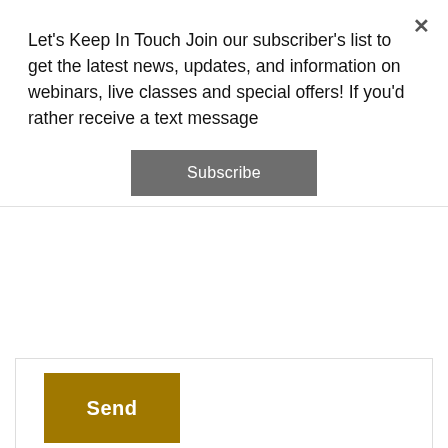Let's Keep In Touch Join our subscriber's list to get the latest news, updates, and information on webinars, live classes and special offers! If you'd rather receive a text message
Subscribe
Send
FORMCRAFT - WORDPRESS FORM BUILDER
Home   About   Services   Resources   Articles   Contact
© Copyright 2018 - Access Complete Wellness - All Rights Reserved
[Figure (other): Social media icons: Facebook, Google+, Twitter, YouTube, LinkedIn, Email]